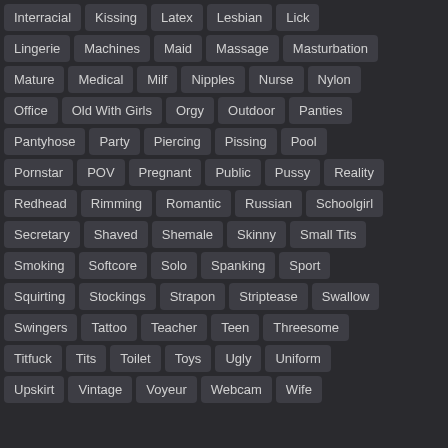Interracial
Kissing
Latex
Lesbian
Lick
Lingerie
Machines
Maid
Massage
Masturbation
Mature
Medical
Milf
Nipples
Nurse
Nylon
Office
Old With Girls
Orgy
Outdoor
Panties
Pantyhose
Party
Piercing
Pissing
Pool
Pornstar
POV
Pregnant
Public
Pussy
Reality
Redhead
Rimming
Romantic
Russian
Schoolgirl
Secretary
Shaved
Shemale
Skinny
Small Tits
Smoking
Softcore
Solo
Spanking
Sport
Squirting
Stockings
Strapon
Striptease
Swallow
Swingers
Tattoo
Teacher
Teen
Threesome
Titfuck
Tits
Toilet
Toys
Ugly
Uniform
Upskirt
Vintage
Voyeur
Webcam
Wife